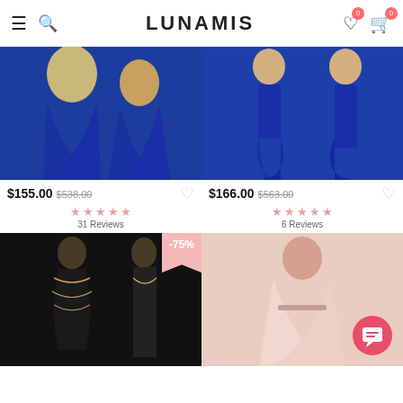LUNAMIS
[Figure (photo): Royal blue ball gown dress, two views: front with beaded/sequin halter top, and side/back view. Two women modeling.]
$155.00  $538.00  31 Reviews
[Figure (photo): Royal blue mermaid dress with slit, two views: front and back. Model wearing long-sleeve gown.]
$166.00  $563.00  6 Reviews
[Figure (photo): Black lace long-sleeve dress with gold embroidery, two views: front and back. Sale badge -75%.]
[Figure (photo): Pink strapless ball gown, woman with wavy hair modeling. Chat button overlay in bottom right.]